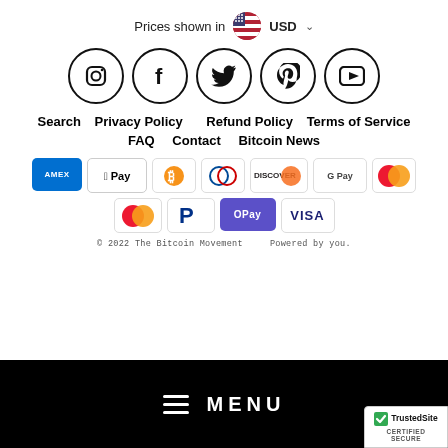Prices shown in USD
[Figure (other): Social media icons in circles: Instagram, Facebook, Twitter, Pinterest, YouTube]
Search   Privacy Policy   Refund Policy   Terms of Service
FAQ   Contact   Bitcoin News
[Figure (other): Payment method icons: Amex, Apple Pay, Bitcoin, Diners, Discover, Google Pay, Mastercard, Mastercard, PayPal, OPay, Visa]
© 2022 The Bitcoin Movement    Powered by you.
[Figure (other): Bottom black navigation bar with hamburger menu icon and MENU text]
[Figure (other): TrustedSite CERTIFIED SECURE badge]